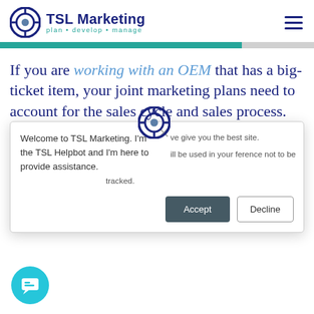TSL Marketing · plan · develop · manage
If you are working with an OEM that has a big-ticket item, your joint marketing plans need to account for the sales cycle and sales process. For example, your channel partner might sell a low … consultation prior to
[Figure (screenshot): Popup overlay with TSL Helpbot welcome message, cookie consent text, Accept and Decline buttons, and chat bubble icon]
Welcome to TSL Marketing. I'm the TSL Helpbot and I'm here to provide assistance.
ve give you the best site. ill be used in your ference not to be tracked.
tracked.